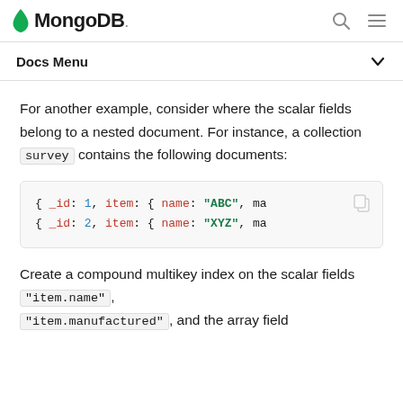MongoDB
Docs Menu
For another example, consider where the scalar fields belong to a nested document. For instance, a collection survey contains the following documents:
[Figure (screenshot): Code block showing two MongoDB documents: { _id: 1, item: { name: "ABC", ma... } and { _id: 2, item: { name: "XYZ", ma... }]
Create a compound multikey index on the scalar fields "item.name", "item.manufactured", and the array field